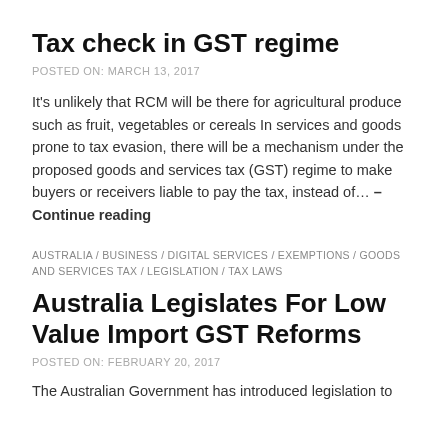Tax check in GST regime
POSTED ON: MARCH 13, 2017
It's unlikely that RCM will be there for agricultural produce such as fruit, vegetables or cereals In services and goods prone to tax evasion, there will be a mechanism under the proposed goods and services tax (GST) regime to make buyers or receivers liable to pay the tax, instead of… – Continue reading
AUSTRALIA / BUSINESS / DIGITAL SERVICES / EXEMPTIONS / GOODS AND SERVICES TAX / LEGISLATION / TAX LAWS
Australia Legislates For Low Value Import GST Reforms
POSTED ON: FEBRUARY 20, 2017
The Australian Government has introduced legislation to